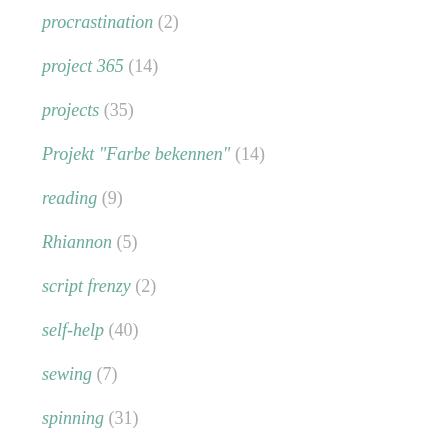procrastination (2)
project 365 (14)
projects (35)
Projekt "Farbe bekennen" (14)
reading (9)
Rhiannon (5)
script frenzy (2)
self-help (40)
sewing (7)
spinning (31)